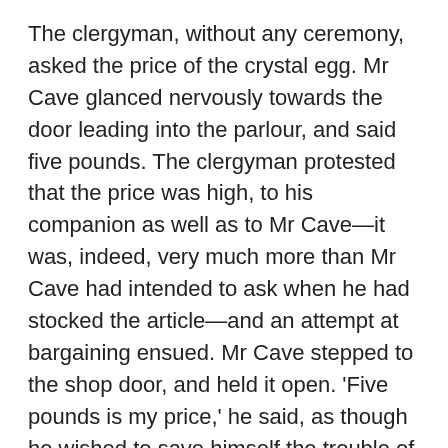The clergyman, without any ceremony, asked the price of the crystal egg. Mr Cave glanced nervously towards the door leading into the parlour, and said five pounds. The clergyman protested that the price was high, to his companion as well as to Mr Cave—it was, indeed, very much more than Mr Cave had intended to ask when he had stocked the article—and an attempt at bargaining ensued. Mr Cave stepped to the shop door, and held it open. 'Five pounds is my price,' he said, as though he wished to save himself the trouble of unprofitable discussion. As he did so, the upper portion of a woman's face appeared above the blind in the glass upper panel of the door leading into the parlour, and stared curiously at the two customers. 'Five pounds is my price,' said Mr Cave, with a quiver in his voice.
The swarthy young man had so far remained a spectator,